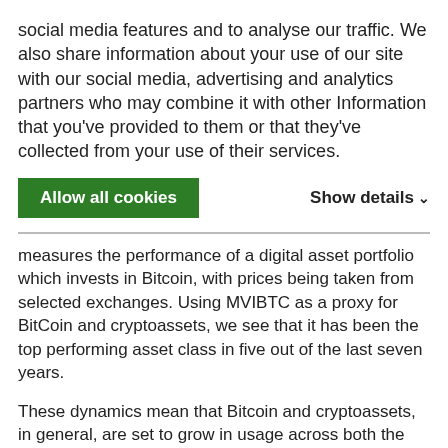social media features and to analyse our traffic. We also share information about your use of our site with our social media, advertising and analytics partners who may combine it with other Information that you've provided to them or that they've collected from your use of their services.
[Figure (other): Cookie consent banner with 'Allow all cookies' green button and 'Show details' option with chevron]
measures the performance of a digital asset portfolio which invests in Bitcoin, with prices being taken from selected exchanges. Using MVIBTC as a proxy for BitCoin and cryptoassets, we see that it has been the top performing asset class in five out of the last seven years.
These dynamics mean that Bitcoin and cryptoassets, in general, are set to grow in usage across both the passive index space as well as in the more active allocation space.  Perhaps, in turn, this will trigger the digitalization of asset allocation strategies.
Welcome to the Digital World!
Note: Bitcoin (BTC) price hits $50,000 for the first time on 16 Februrary 2021.
Asset Class Performance (MVIBTC